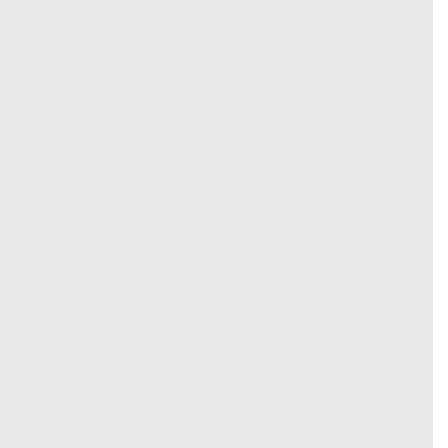apply_to_child…
enableStatistic… stat_list, stat_params_c… apply_to_child…
setStatisticLoa… level, apply_to_child…
setStatisticLoa… level, apply_to_child…
setStatisticLoa…
getStatisticLoa…
setStatisticOu…
setStatisticOu… value)
setStatisticOu…
General Notes on Statistics
Statistic load levels
Statistic parameters